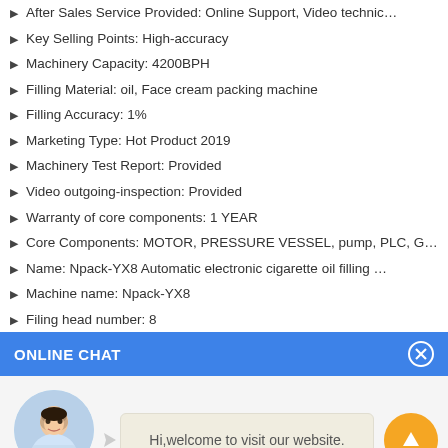After Sales Service Provided: Online Support, Video technic…
Key Selling Points: High-accuracy
Machinery Capacity: 4200BPH
Filling Material: oil, Face cream packing machine
Filling Accuracy: 1%
Marketing Type: Hot Product 2019
Machinery Test Report: Provided
Video outgoing-inspection: Provided
Warranty of core components: 1 YEAR
Core Components: MOTOR, PRESSURE VESSEL, pump, PLC, G…
Name: Npack-YX8 Automatic electronic cigarette oil filling …
Machine name: Npack-YX8
Filing head number: 8
ONLINE CHAT
[Figure (photo): Online chat widget with avatar of a woman named Cilina and a welcome message bubble saying 'Hi,welcome to visit our website.']